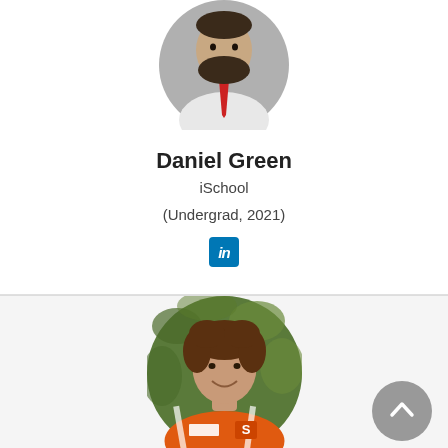[Figure (photo): Circular headshot of Daniel Green — man with beard wearing white shirt and red tie, gray background]
Daniel Green
iSchool
(Undergrad, 2021)
[Figure (logo): LinkedIn icon — blue rounded square with white 'in' text]
[Figure (photo): Circular photo of a young woman smiling, wearing orange Syracuse S polo shirt, green leafy background]